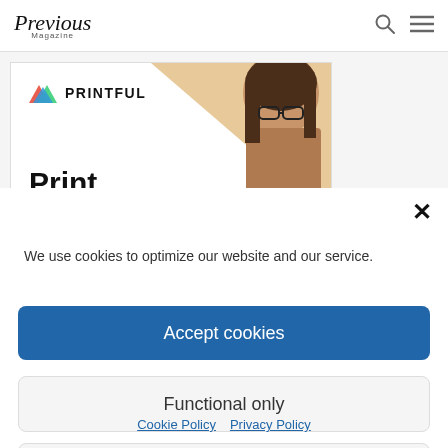Previous Magazine
[Figure (illustration): Printful advertisement banner showing logo, mountain triangle icon, and 'Print,' text with a woman wearing glasses on the right side against a tan background]
We use cookies to optimize our website and our service.
Accept cookies
Functional only
View preferences
Cookie Policy  Privacy Policy